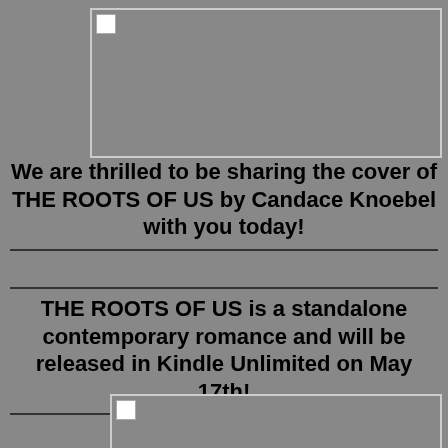[Figure (photo): Broken/missing image placeholder at top of page]
We are thrilled to be sharing the cover of THE ROOTS OF US by Candace Knoebel with you today!
THE ROOTS OF US is a standalone contemporary romance and will be released in Kindle Unlimited on May 17th!
[Figure (photo): Broken/missing image placeholder at bottom of page]